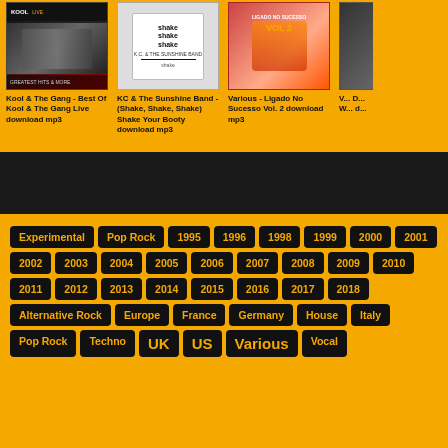[Figure (photo): Album cover: Kool & The Gang - Best Of Kool & The Gang Live]
Kool & The Gang - Best Of Kool & The Gang Live download mp3
[Figure (photo): Album cover: KC & The Sunshine Band - (Shake, Shake, Shake) Shake Your Booty]
KC & The Sunshine Band - (Shake, Shake, Shake) Shake Your Booty download mp3
[Figure (photo): Album cover: Various - Ligado No Sucesso Vol. 2]
Various - Ligado No Sucesso Vol. 2 download mp3
[Figure (photo): Album cover: partial, cut off on right]
V... D... W... d...
Experimental
Pop Rock
1995
1996
1998
1999
2000
2001
2002
2003
2004
2005
2006
2007
2008
2009
2010
2011
2012
2013
2014
2015
2016
2017
2018
Alternative Rock
Europe
France
Germany
House
Italy
Pop Rock
Techno
UK
US
Various
Vocal